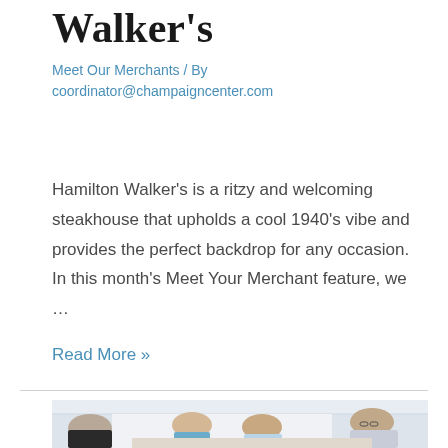Walker's
Meet Our Merchants / By coordinator@champaigncenter.com
Hamilton Walker's is a ritzy and welcoming steakhouse that upholds a cool 1940's vibe and provides the perfect backdrop for any occasion. In this month's Meet Your Merchant feature, we ...
Read More »
[Figure (photo): People gathered indoors around a table in a bright room, appearing to be at a networking or community event. Several women and a man with glasses are visible, engaged in conversation or reviewing materials.]